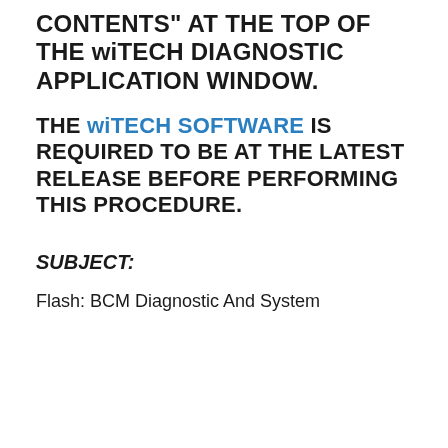CONTENTS" AT THE TOP OF THE wiTECH DIAGNOSTIC APPLICATION WINDOW.
THE wiTECH SOFTWARE IS REQUIRED TO BE AT THE LATEST RELEASE BEFORE PERFORMING THIS PROCEDURE.
SUBJECT:
Flash: BCM Diagnostic And System